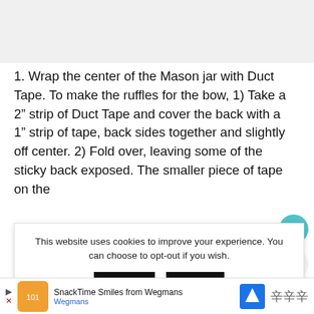[Figure (photo): Gray placeholder image area at top of page]
1. Wrap the center of the Mason jar with Duct Tape. To make the ruffles for the bow, 1) Take a 2” strip of Duct Tape and cover the back with a 1” strip of tape, back sides together and slightly off center. 2) Fold over, leaving some of the sticky back exposed. The smaller piece of tape on the …instead of …of the bow. …e jar
This website uses cookies to improve your experience. You can choose to opt-out if you wish.
Accept | Reject
Read More
WHAT’S NEXT → Valentine’s Day
[Figure (screenshot): Advertisement banner: SnackTime Smiles from Wegmans]